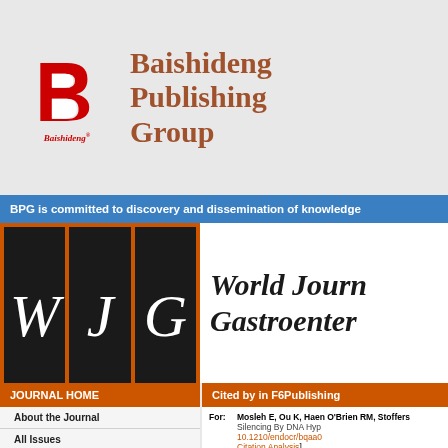[Figure (logo): Baishideng Publishing Group logo with red stylized B and cursive Baishideng text]
Baishideng Publishing Group
BPG is committed to discovery and dissemination of knowledge
[Figure (logo): World Journal of Gastroenterology WJG logo with three dark boxes containing italic W, J, G letters]
JOURNAL HOME
Cited by in F6Publishing
About the Journal
All Issues
Article Processing Charge
Conflict-of-Interest Statement
Contact Us
Copyright License Agreement
For: Mosleh E, Ou K, Haen O'Brien RM, Stoffers Silencing By DNA Hyp 10.1210/endocr/bqaa0 Citation Analysis]
| Number |  |
| --- | --- |
|  | Reiterer M, Gilani A |